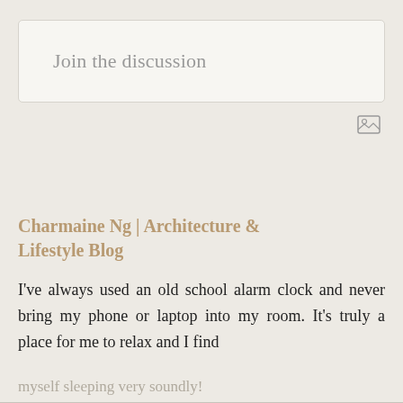Join the discussion
[Figure (other): Image/photo upload icon button]
Charmaine Ng | Architecture & Lifestyle Blog
I've always used an old school alarm clock and never bring my phone or laptop into my room. It's truly a place for me to relax and I find
myself sleeping very soundly!